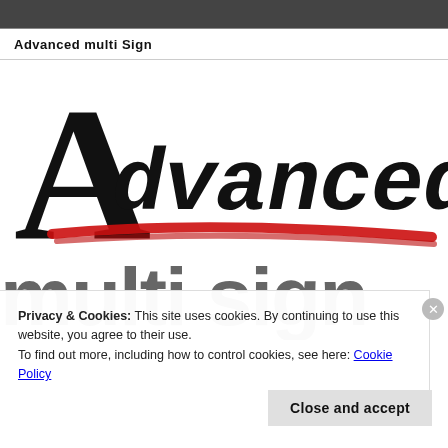[Figure (photo): Partial photograph visible at top of page, dark tones]
Advanced multi Sign
[Figure (logo): Advanced multi Sign logo: large serif A with cursive 'dvanced' script in black ink with red brushstroke underline, and 'multi sign' in large bold gray sans-serif below]
Privacy & Cookies: This site uses cookies. By continuing to use this website, you agree to their use.
To find out more, including how to control cookies, see here: Cookie Policy
Close and accept